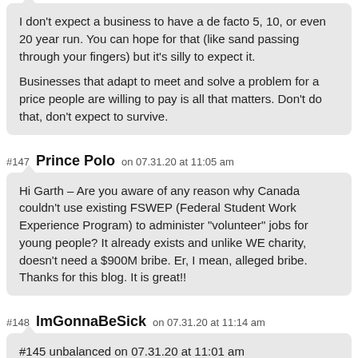I don't expect a business to have a de facto 5, 10, or even 20 year run. You can hope for that (like sand passing through your fingers) but it's silly to expect it.

Businesses that adapt to meet and solve a problem for a price people are willing to pay is all that matters. Don't do that, don't expect to survive.
#147 Prince Polo on 07.31.20 at 11:05 am
Hi Garth – Are you aware of any reason why Canada couldn't use existing FSWEP (Federal Student Work Experience Program) to administer "volunteer" jobs for young people? It already exists and unlike WE charity, doesn't need a $900M bribe. Er, I mean, alleged bribe. Thanks for this blog. It is great!!
#148 ImGonnaBeSick on 07.31.20 at 11:14 am
#145 unbalanced on 07.31.20 at 11:01 am
I threw a comment out this morning and landed the biggest fish in only 18 mins. Thats a Master in my books.